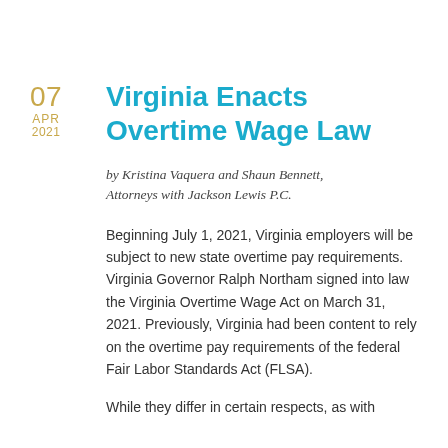Virginia Enacts Overtime Wage Law
by Kristina Vaquera and Shaun Bennett, Attorneys with Jackson Lewis P.C.
Beginning July 1, 2021, Virginia employers will be subject to new state overtime pay requirements. Virginia Governor Ralph Northam signed into law the Virginia Overtime Wage Act on March 31, 2021. Previously, Virginia had been content to rely on the overtime pay requirements of the federal Fair Labor Standards Act (FLSA).
While they differ in certain respects, as with